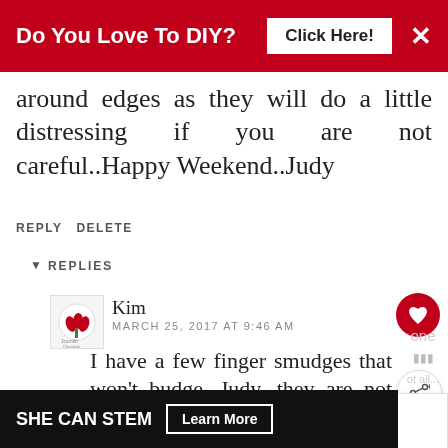[Figure (screenshot): Red advertisement banner at top reading 'Do You Love To DIY?' with a 'Click Here!' button and X close button]
around edges as they will do a little distressing if you are not careful..Happy Weekend..Judy
REPLY DELETE
▼ REPLIES
Kim
MARCH 25, 2017 AT 9:46 AM
I have a few finger smudges that won't budge, Judy, they are not bad enough to use the pen. Maybe I need a
[Figure (screenshot): Bottom advertisement banner: SHE CAN STEM with Learn More button]
[Figure (screenshot): WHAT'S NEXT overlay box showing 'The Easiest Way To Rep...']